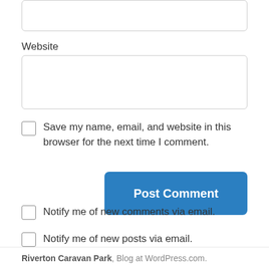[Figure (screenshot): Top portion of a text input box (partially visible at top of page)]
Website
[Figure (screenshot): Website input text field (empty)]
Save my name, email, and website in this browser for the next time I comment.
Post Comment
Notify me of new comments via email.
Notify me of new posts via email.
Riverton Caravan Park, Blog at WordPress.com.